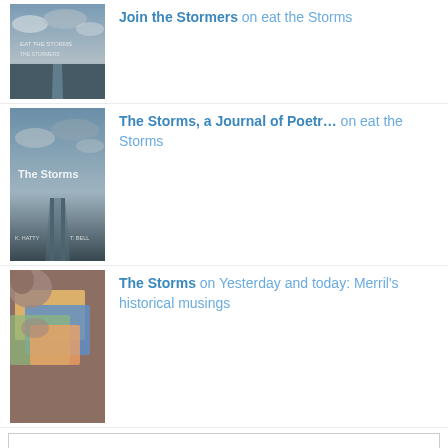Join the Stormers on eat the Storms
[Figure (photo): Road under stormy sky thumbnail]
The Storms, a Journal of Poetr… on eat the Storms
[Figure (photo): The Storms journal cover thumbnail]
The Storms on Yesterday and today: Merril's historical musings
[Figure (photo): Colorful book/postcard pile thumbnail]
Privacy & Cookies: This site uses cookies. By continuing to use this website, you agree to their use. To find out more, including how to control cookies, see here: Cookie Policy
[Figure (photo): Dark thumbnail at bottom]